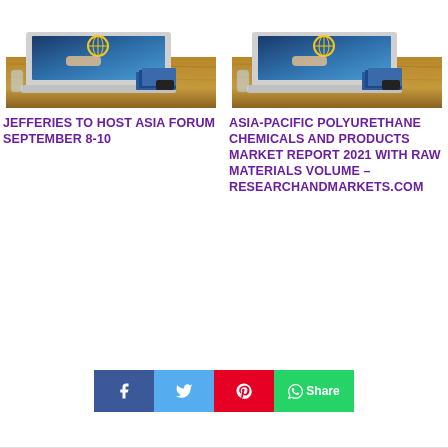[Figure (photo): Photo of a laptop computer on a wooden desk with books and a smartphone]
JEFFERIES TO HOST ASIA FORUM SEPTEMBER 8-10
[Figure (photo): Photo of a laptop computer on a wooden desk with books and a smartphone]
ASIA-PACIFIC POLYURETHANE CHEMICALS AND PRODUCTS MARKET REPORT 2021 WITH RAW MATERIALS VOLUME – RESEARCHANDMARKETS.COM
[Figure (infographic): Social share buttons: Facebook, Twitter, Pinterest, WhatsApp Share]